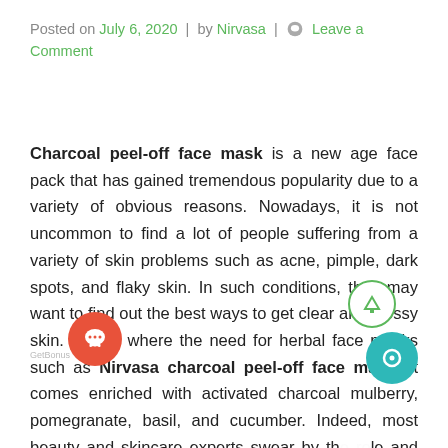Posted on July 6, 2020 | by Nirvasa | Leave a Comment
Charcoal peel-off face mask is a new age face pack that has gained tremendous popularity due to a variety of obvious reasons. Nowadays, it is not uncommon to find a lot of people suffering from a variety of skin problems such as acne, pimple, dark spots, and flaky skin. In such conditions, they may want to find out the best ways to get clear and glossy skin. This is where the need for herbal face masks such as Nirvasa charcoal peel-off face mask. It comes enriched with activated charcoal mulberry, pomegranate, basil, and cucumber. Indeed, most beauty and skincare experts swear by the role and effectiveness of these botanicals in maintaining skin health. This face mask with powerful cleansing agents such as charcoal is recommended for people often deal with dark